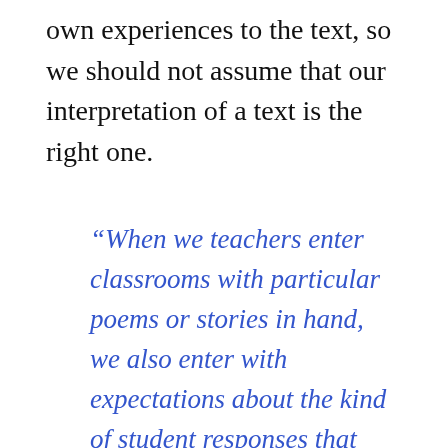own experiences to the text, so we should not assume that our interpretation of a text is the right one.
“When we teachers enter classrooms with particular poems or stories in hand, we also enter with expectations about the kind of student responses that would be most fruitful, and these expectations have been shaped, for the most part in literature departments in American